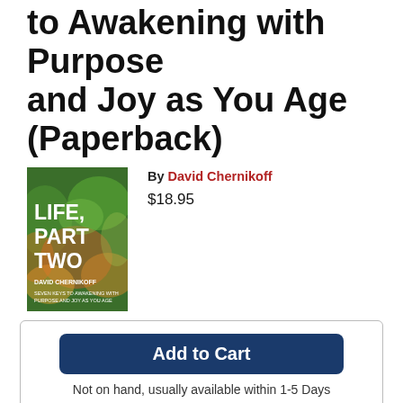to Awakening with Purpose and Joy as You Age (Paperback)
[Figure (illustration): Book cover for 'Life, Part Two' by David Chernikoff. Cover shows colorful nature imagery with white bold text reading LIFE, PART TWO and subtitle SEVEN KEYS TO AWAKENING WITH PURPOSE AND JOY AS YOU AGE.]
By David Chernikoff
$18.95
Add to Cart
Not on hand, usually available within 1-5 Days
Description
A guide to seven essential elements that will illuminate